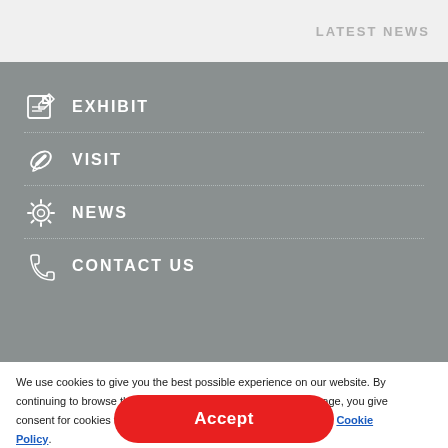LATEST NEWS
EXHIBIT
VISIT
NEWS
CONTACT US
We use cookies to give you the best possible experience on our website. By continuing to browse this site or by choosing to close this message, you give consent for cookies to be used. For more details please read our Cookie Policy.
Accept